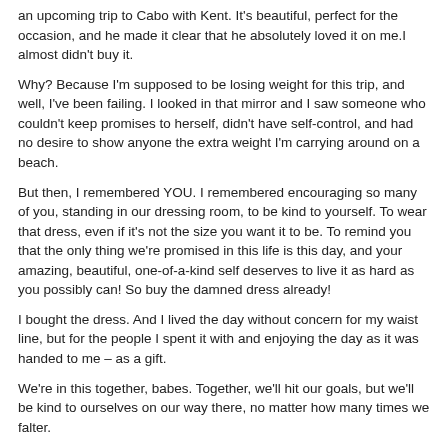an upcoming trip to Cabo with Kent. It's beautiful, perfect for the occasion, and he made it clear that he absolutely loved it on me.I almost didn't buy it.
Why? Because I'm supposed to be losing weight for this trip, and well, I've been failing. I looked in that mirror and I saw someone who couldn't keep promises to herself, didn't have self-control, and had no desire to show anyone the extra weight I'm carrying around on a beach.
But then, I remembered YOU. I remembered encouraging so many of you, standing in our dressing room, to be kind to yourself. To wear that dress, even if it's not the size you want it to be. To remind you that the only thing we're promised in this life is this day, and your amazing, beautiful, one-of-a-kind self deserves to live it as hard as you possibly can! So buy the damned dress already!
I bought the dress. And I lived the day without concern for my waist line, but for the people I spent it with and enjoying the day as it was handed to me – as a gift.
We're in this together, babes. Together, we'll hit our goals, but we'll be kind to ourselves on our way there, no matter how many times we falter.